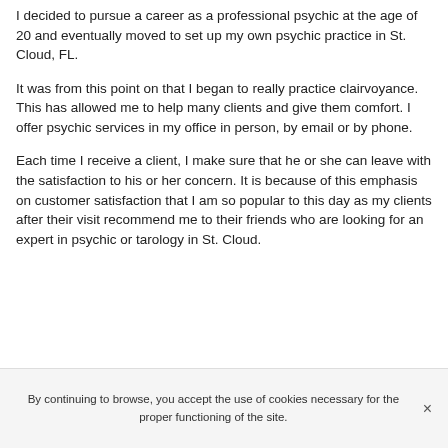I decided to pursue a career as a professional psychic at the age of 20 and eventually moved to set up my own psychic practice in St. Cloud, FL.
It was from this point on that I began to really practice clairvoyance. This has allowed me to help many clients and give them comfort. I offer psychic services in my office in person, by email or by phone.
Each time I receive a client, I make sure that he or she can leave with the satisfaction to his or her concern. It is because of this emphasis on customer satisfaction that I am so popular to this day as my clients after their visit recommend me to their friends who are looking for an expert in psychic or tarology in St. Cloud.
By continuing to browse, you accept the use of cookies necessary for the proper functioning of the site.